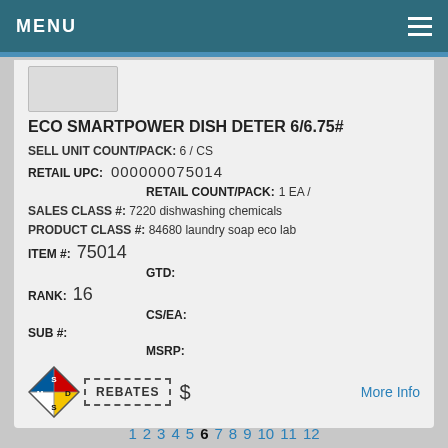MENU
ECO SMARTPOWER DISH DETER 6/6.75#
SELL UNIT COUNT/PACK: 6 / CS
RETAIL UPC: 000000075014
RETAIL COUNT/PACK: 1 EA /
SALES CLASS #: 7220 dishwashing chemicals
PRODUCT CLASS #: 84680 laundry soap eco lab
ITEM #: 75014
GTD:
RANK: 16
CS/EA:
SUB #:
MSRP:
[Figure (logo): MSDS hazard diamond with M, S, D, S labels in blue, red, yellow, white quadrants]
REBATES $
More Info
1 2 3 4 5 6 7 8 9 10 11 12